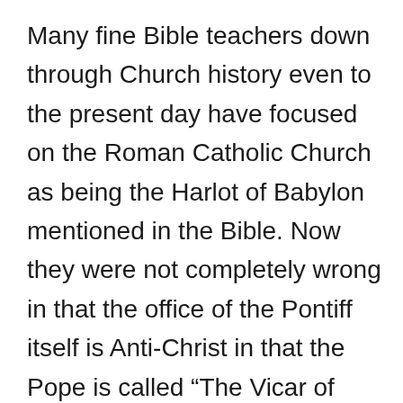Many fine Bible teachers down through Church history even to the present day have focused on the Roman Catholic Church as being the Harlot of Babylon mentioned in the Bible. Now they were not completely wrong in that the office of the Pontiff itself is Anti-Christ in that the Pope is called “The Vicar of Christ” or in Latin “Vicarious Christos.” However, in Greek it is “Anti-Christos” or literally; “Antichrist.” The word itself in the Greek means “against Christ” and also “In place of Christ.” Every Pope, because of so called “Papal infallibility in matters of doctrine and faith,” sits in the seat of